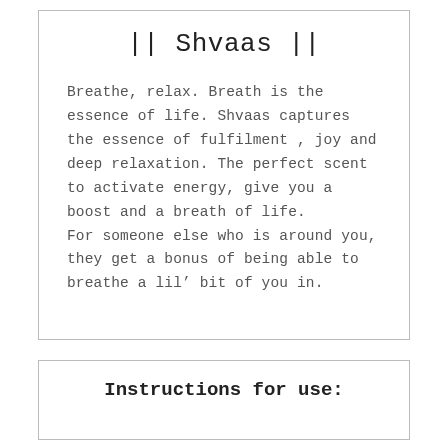|| Shvaas ||
Breathe, relax. Breath is the essence of life. Shvaas captures the essence of fulfilment , joy and deep relaxation. The perfect scent to activate energy, give you a boost and a breath of life.
For someone else who is around you, they get a bonus of being able to breathe a lil’ bit of you in.
Instructions for use: